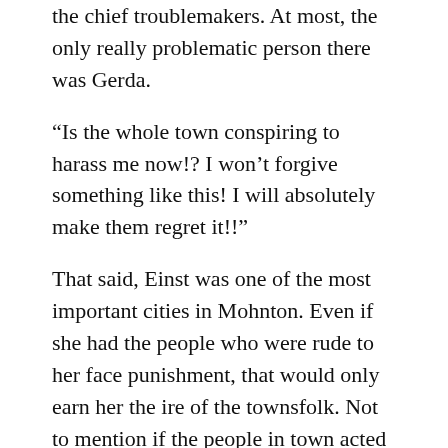the chief troublemakers. At most, the only really problematic person there was Gerda.
“Is the whole town conspiring to harass me now!? I won’t forgive something like this! I will absolutely make them regret it!!”
That said, Einst was one of the most important cities in Mohnton. Even if she had the people who were rude to her face punishment, that would only earn her the ire of the townsfolk. Not to mention if the people in town acted as uniformly as the servants in the mansion, it wouldn’t be feasible to punish them all.
Changing the mindset of a town that had been mired in its ways for hundreds of years wouldn’t